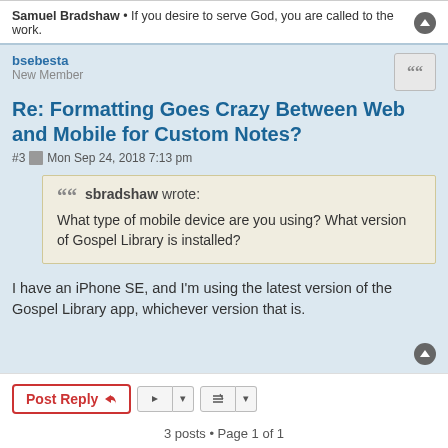Samuel Bradshaw • If you desire to serve God, you are called to the work.
bsebesta
New Member
Re: Formatting Goes Crazy Between Web and Mobile for Custom Notes?
#3  Mon Sep 24, 2018 7:13 pm
sbradshaw wrote:
What type of mobile device are you using? What version of Gospel Library is installed?
I have an iPhone SE, and I'm using the latest version of the Gospel Library app, whichever version that is.
Post Reply
3 posts • Page 1 of 1
Jump to